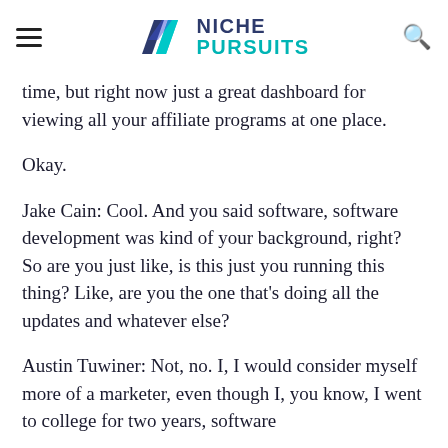NICHE PURSUITS
time, but right now just a great dashboard for viewing all your affiliate programs at one place.
Okay.
Jake Cain: Cool. And you said software, software development was kind of your background, right? So are you just like, is this just you running this thing? Like, are you the one that's doing all the updates and whatever else?
Austin Tuwiner: Not, no. I, I would consider myself more of a marketer, even though I, you know, I went to college for two years, software